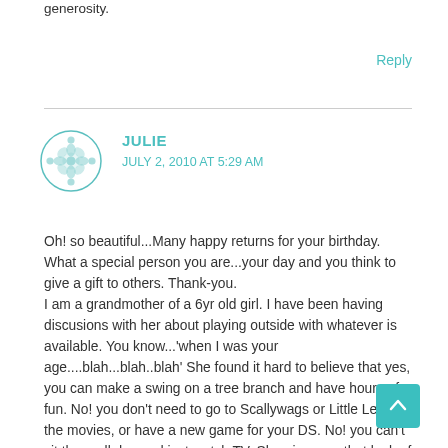generosity.
Reply
JULIE
JULY 2, 2010 AT 5:29 AM
Oh! so beautiful...Many happy returns for your birthday. What a special person you are...your day and you think to give a gift to others. Thank-you.
I am a grandmother of a 6yr old girl. I have been having discusions with her about playing outside with whatever is available. You know...'when I was your age....blah...blah..blah' She found it hard to believe that yes, you can make a swing on a tree branch and have hours of fun. No! you don't need to go to Scallywags or Little Legs or the movies, or have a new game for your DS. No! you can't sit there all day and just watch TV. She gives me that look of sheer horror and bewilderment.
It would be so nice to have her see that I'm really not an old fuddy duddy from the olden days that knows what a swing on a tree is. It is the school holidays here at the moment and I have